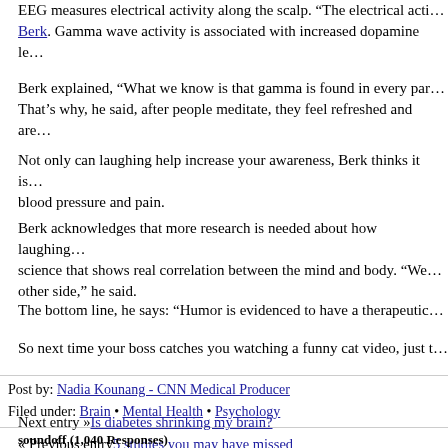EEG measures electrical activity along the scalp. “The electrical acti… Berk. Gamma wave activity is associated with increased dopamine le…
Berk explained, “What we know is that gamma is found in every par… That’s why, he said, after people meditate, they feel refreshed and are…
Not only can laughing help increase your awareness, Berk thinks it is… blood pressure and pain.
Berk acknowledges that more research is needed about how laughing… science that shows real correlation between the mind and body. “We… other side,” he said.
The bottom line, he says: "Humor is evidenced to have a therapeutic…
So next time your boss catches you watching a funny cat video, just t…
Post by: Nadia Kounang - CNN Medical Producer
Filed under: Brain • Mental Health • Psychology
Next entry »Is diabetes shrinking my brain?
« Previous entry5 studies you may have missed
soundoff (1,040 Responses)